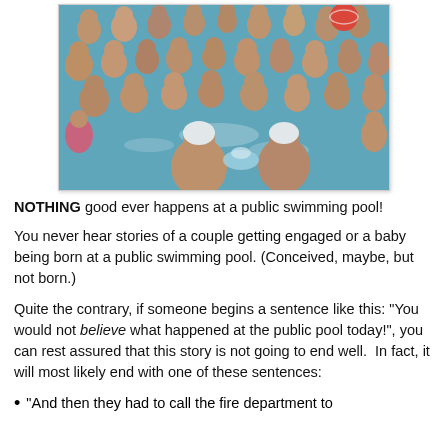[Figure (photo): Overhead view of a very crowded public swimming pool filled with many people, mostly children and adults, in blue water. Two people in the foreground wear white swim caps.]
NOTHING good ever happens at a public swimming pool!
You never hear stories of a couple getting engaged or a baby being born at a public swimming pool. (Conceived, maybe, but not born.)
Quite the contrary, if someone begins a sentence like this: "You would not believe what happened at the public pool today!", you can rest assured that this story is not going to end well.  In fact, it will most likely end with one of these sentences:
"And then they had to call the fire department to